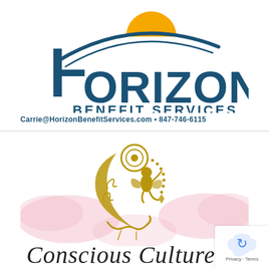[Figure (logo): Horizon Benefit Services logo with blue HORIZON text, BENEFIT SERVICES subtitle, golden sun arc graphic, and contact information: Carrie@HorizonBenefitServices.com • 847-746-6115]
[Figure (logo): Conscious Culture logo with golden fairy sitting on a decorative crescent moon with hanging crystals, surrounded by soft pink clouds, with cursive text beginning 'Conscious Culture' below]